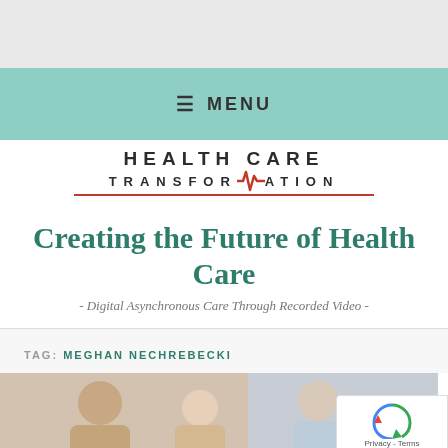MENU
[Figure (logo): Health Care Transformation logo with heartbeat line graphic and red underline]
Creating the Future of Health Care
- Digital Asynchronous Care Through Recorded Video -
TAG: MEGHAN NECHREBECKI
[Figure (photo): Photo strip showing people, partially visible at bottom of page]